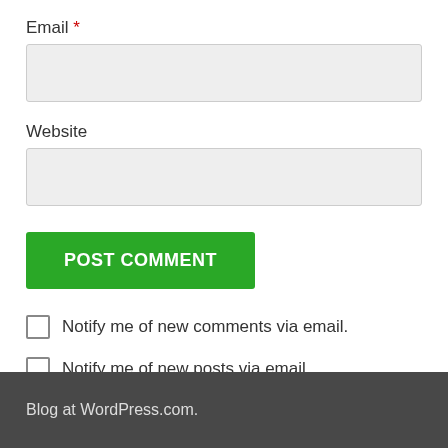Email *
Website
POST COMMENT
Notify me of new comments via email.
Notify me of new posts via email.
Blog at WordPress.com.